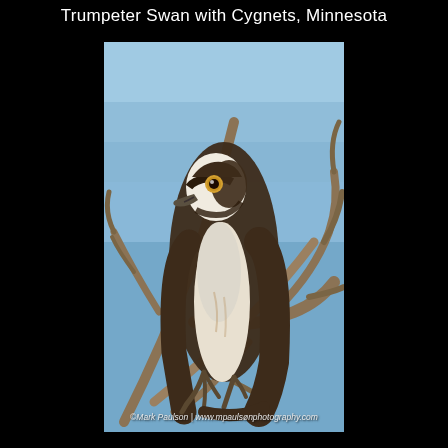Trumpeter Swan with Cygnets, Minnesota
[Figure (photo): An osprey perched on bare tree branches against a clear blue sky. The bird has distinctive brown and white plumage, with a white head and dark eye stripe. It is gripping the branch with its talons and looking slightly to the left. Watermark reads: ©Mark Paulson | www.mpaulsønphotography.com]
©Mark Paulson | www.mpaulsонphotography.com